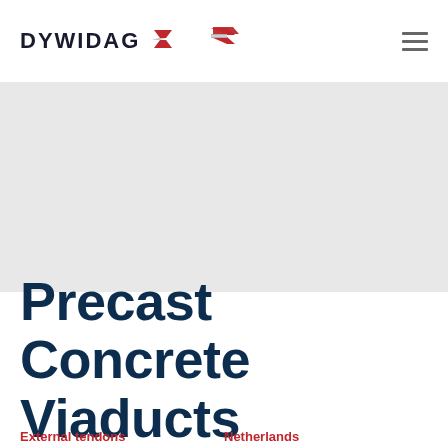[Figure (logo): DYWIDAG logo with red angular arrow/chevron icon to the right of the text]
[Figure (other): Gray banner/hero image placeholder area]
Precast Concrete Viaducts
External tendons
Netherlands